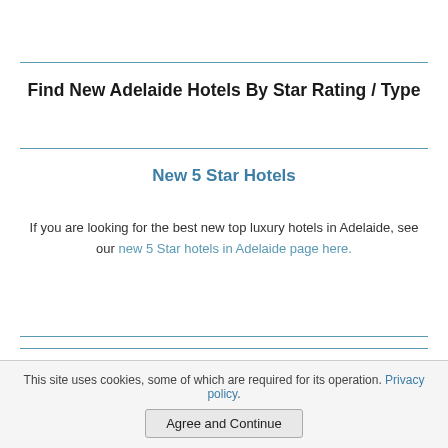Find New Adelaide Hotels By Star Rating / Type
New 5 Star Hotels
If you are looking for the best new top luxury hotels in Adelaide, see our new 5 Star hotels in Adelaide page here.
New 3 & 4 Star Hotels In Adelaide
To see the best new deluxe hotels opened in Adelaide, see our new 4 Star hotels in Adelaide page here.
This site uses cookies, some of which are required for its operation. Privacy policy.